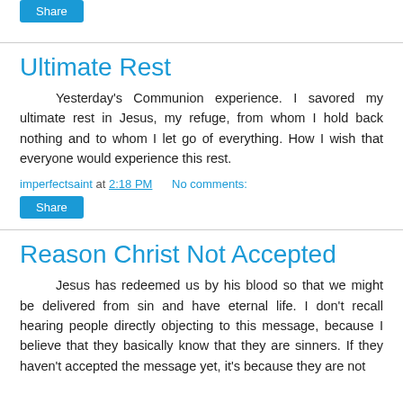[Figure (other): Share button at top of page]
Ultimate Rest
Yesterday's Communion experience. I savored my ultimate rest in Jesus, my refuge, from whom I hold back nothing and to whom I let go of everything. How I wish that everyone would experience this rest.
imperfectsaint at 2:18 PM   No comments:
[Figure (other): Share button]
Reason Christ Not Accepted
Jesus has redeemed us by his blood so that we might be delivered from sin and have eternal life. I don't recall hearing people directly objecting to this message, because I believe that they basically know that they are sinners. If they haven't accepted the message yet, it's because they are not